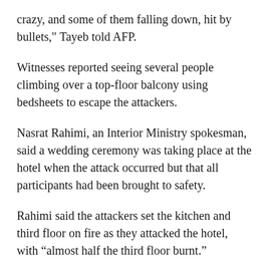crazy, and some of them falling down, hit by bullets," Tayeb told AFP.
Witnesses reported seeing several people climbing over a top-floor balcony using bedsheets to escape the attackers.
Nasrat Rahimi, an Interior Ministry spokesman, said a wedding ceremony was taking place at the hotel when the attack occurred but that all participants had been brought to safety.
Rahimi said the attackers set the kitchen and third floor on fire as they attacked the hotel, with “almost half the third floor burnt.”
Television video showed black smoke rising from the